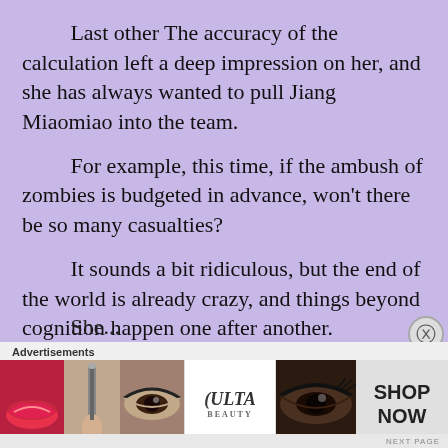Last other The accuracy of the calculation left a deep impression on her, and she has always wanted to pull Jiang Miaomiao into the team.
For example, this time, if the ambush of zombies is budgeted in advance, won't there be so many casualties?
It sounds a bit ridiculous, but the end of the world is already crazy, and things beyond cognition happen one after another.
She...
[Figure (photo): Ulta Beauty advertisement banner showing close-up images of lips with lipstick, makeup brush, eyes with eyeshadow, Ulta Beauty logo, more eye closeups, and a 'SHOP NOW' button.]
Advertisements